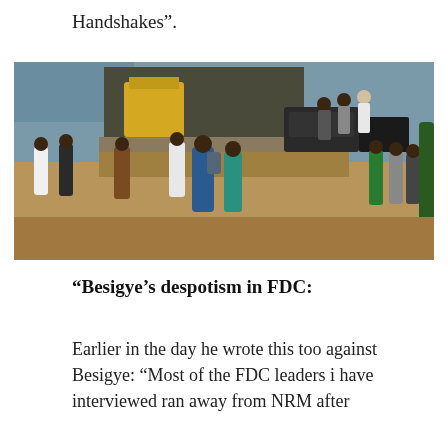Handshakes”.
[Figure (photo): People disembarking from a ferry at a dock, with vehicles on the ferry and people standing on the shore. The setting appears to be a river or lake crossing in Africa. Some individuals are walking off the ferry ramp onto a dirt/sandy embankment while others watch from the side.]
“Besigye’s despotism in FDC:
Earlier in the day he wrote this too against Besigye: “Most of the FDC leaders i have interviewed ran away from NRM after receiving handsome rewards. Now they are the…